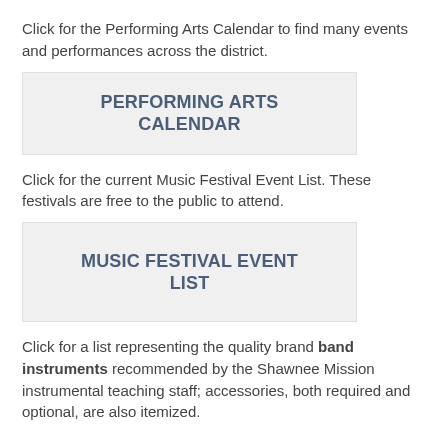Click for the Performing Arts Calendar to find many events and performances across the district.
[Figure (other): Button graphic labeled PERFORMING ARTS CALENDAR]
Click for the current Music Festival Event List. These festivals are free to the public to attend.
[Figure (other): Button graphic labeled MUSIC FESTIVAL EVENT LIST]
Click for a list representing the quality brand band instruments recommended by the Shawnee Mission instrumental teaching staff; accessories, both required and optional, are also itemized.